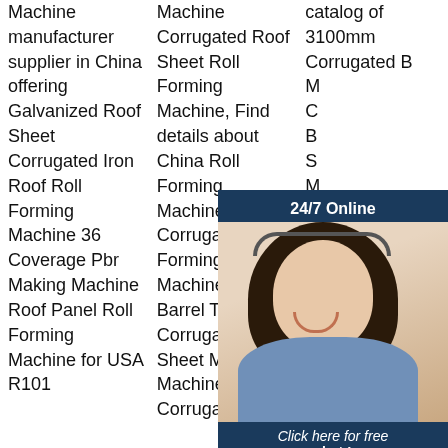Machine manufacturer supplier in China offering Galvanized Roof Sheet Corrugated Iron Roof Roll Forming Machine 36 Coverage Pbr Making Machine Roof Panel Roll Forming Machine for USA R101
Machine Corrugated Roof Sheet Roll Forming Machine, Find details about China Roll Forming Machine, Corrugated Forming Machine from Barrel Type Corrugated Iron Sheet Making Machine Corrugated
catalog of 3100mm Corrugated Barrel Type Corrugated Sheet Making Machine price, Corrugated machine Tianjin Haixing Imp. & Exp. Co.,Jiangyin Bosj Science And Technology
[Figure (photo): 24/7 Online chat popup with a female customer service agent wearing a headset, smiling. Below her photo: 'Click here for free chat!' and an orange QUOTATION button.]